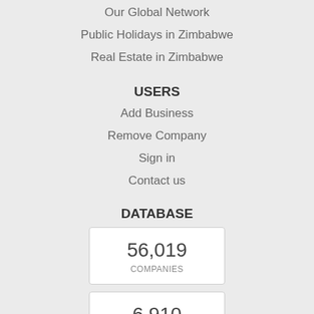Our Global Network
Public Holidays in Zimbabwe
Real Estate in Zimbabwe
USERS
Add Business
Remove Company
Sign in
Contact us
DATABASE
| 56,019 | 6,910 |
| COMPANIES | PHOTOS |
| 1,021 | 4,347 |